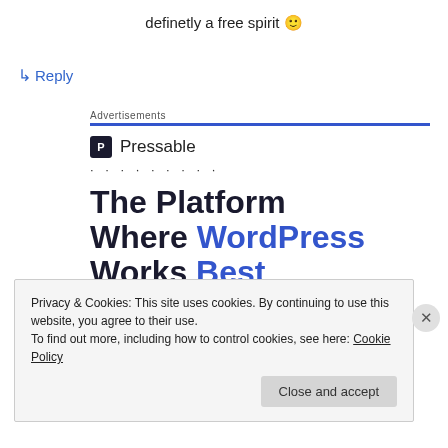definetly a free spirit 🙂
↳ Reply
Advertisements
[Figure (logo): Pressable logo with bold P icon and brand name 'Pressable']
· · · · · · · · ·
The Platform Where WordPress Works Best
Privacy & Cookies: This site uses cookies. By continuing to use this website, you agree to their use.
To find out more, including how to control cookies, see here: Cookie Policy
Close and accept